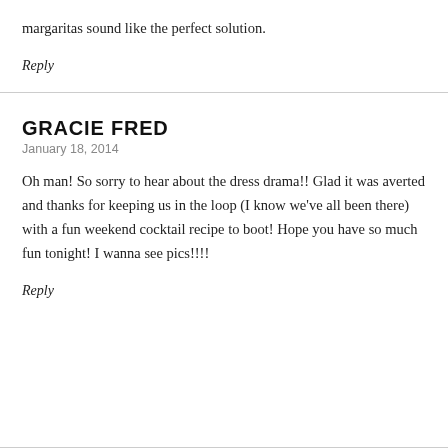margaritas sound like the perfect solution.
Reply
GRACIE FRED
January 18, 2014
Oh man! So sorry to hear about the dress drama!! Glad it was averted and thanks for keeping us in the loop (I know we’ve all been there) with a fun weekend cocktail recipe to boot! Hope you have so much fun tonight! I wanna see pics!!!!
Reply